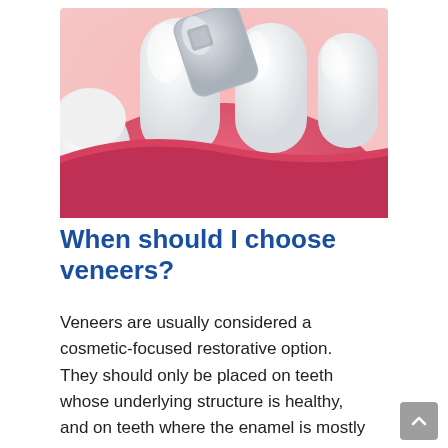[Figure (illustration): 3D dental illustration showing a dental veneer being placed on a front tooth, with pink gums and white teeth visible]
When should I choose veneers?
Veneers are usually considered a cosmetic-focused restorative option. They should only be placed on teeth whose underlying structure is healthy, and on teeth where the enamel is mostly